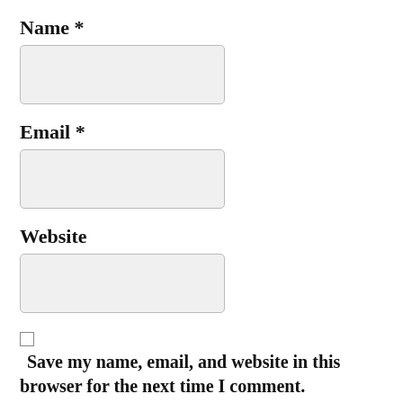Name *
[Figure (other): Empty text input field for Name]
Email *
[Figure (other): Empty text input field for Email]
Website
[Figure (other): Empty text input field for Website]
Save my name, email, and website in this browser for the next time I comment.
Notify me of follow-up comments by